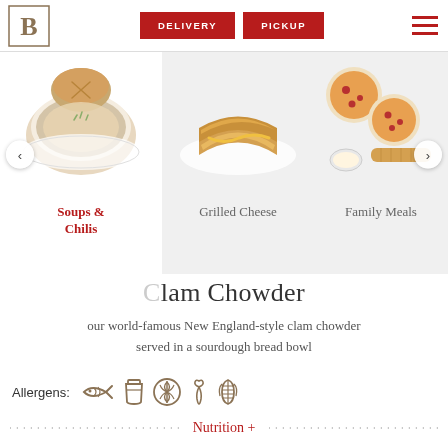B | DELIVERY | PICKUP | [menu icon]
[Figure (screenshot): Category carousel showing: Soups & Chilis (selected, white card), Grilled Cheese, Family Meals with food photography images and left/right navigation arrows]
Clam Chowder
our world-famous New England-style clam chowder served in a sourdough bread bowl
Allergens: [fish icon] [dairy icon] [wheat/gluten icon] [pepper icon] [corn icon]
Nutrition +